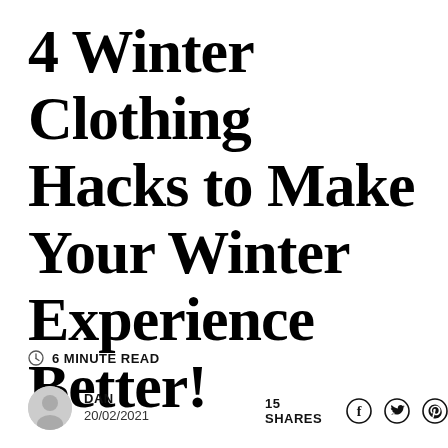4 Winter Clothing Hacks to Make Your Winter Experience Better!
6 MINUTE READ
DAN
20/02/2021
15 SHARES